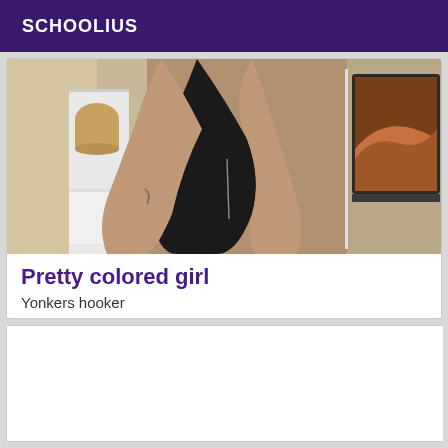SCHOOLIUS
[Figure (photo): A person wearing a black swimsuit/bodysuit, photographed from behind/side, with electronics visible in background including a laptop and tablet.]
Pretty colored girl
Yonkers hooker
Hello pretty half-breed with caramel skin, smiling and dynamic I am submissive I practice massages